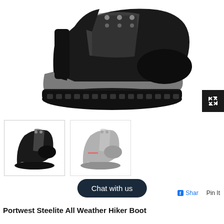[Figure (photo): Main product image of a black Portwest Steelite All Weather Hiker Boot, side view showing the suede upper, gray mesh panel, steel lace eyelets, and chunky black rubber sole, on white background.]
[Figure (photo): Thumbnail image 1: black Portwest Steelite hiker boot, front-side view showing gray and black coloring.]
[Figure (photo): Thumbnail image 2: gray/tan Portwest Steelite hiker boot with red laces, front-side view, partially faded/greyed out.]
Share
Pin It
Chat with us
Portwest Steelite All Weather Hiker Boot